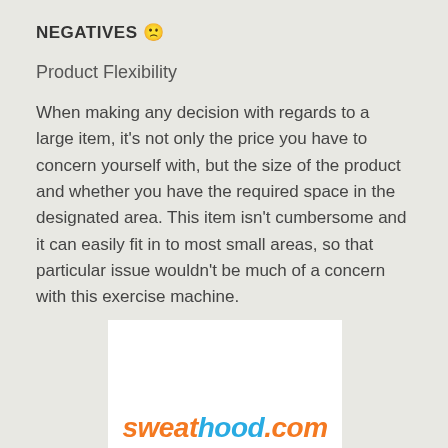NEGATIVES 😕
Product Flexibility
When making any decision with regards to a large item, it's not only the price you have to concern yourself with, but the size of the product and whether you have the required space in the designated area. This item isn't cumbersome and it can easily fit in to most small areas, so that particular issue wouldn't be much of a concern with this exercise machine.
[Figure (logo): sweathood.com logo in orange and blue italic text on white background]